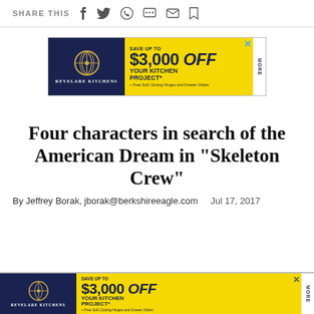SHARE THIS
[Figure (infographic): Revelare Kitchens advertisement: SAVE UP TO $3,000 OFF YOUR KITCHEN PROJECT* + Free Soft Closing Hinges and Drawer Glides]
Four characters in search of the American Dream in "Skeleton Crew"
By Jeffrey Borak, jborak@berkshireeagle.com   Jul 17, 2017
[Figure (infographic): Revelare Kitchens advertisement (partial, bottom): SAVE UP TO $3,000 OFF YOUR KITCHEN PROJECT* + Free Soft Closing Hinges and Drawer Glides]